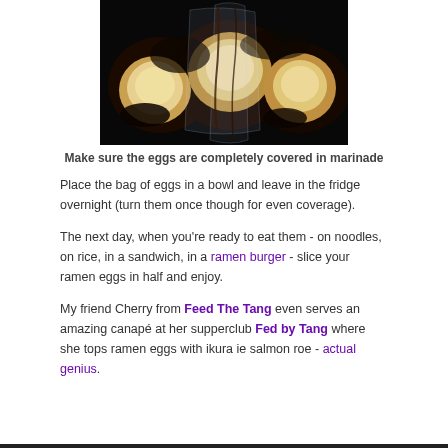[Figure (photo): Close-up photo of eggs marinating in dark sauce inside a clear plastic bag, showing glossy dark marinade coating the eggs.]
Make sure the eggs are completely covered in marinade
Place the bag of eggs in a bowl and leave in the fridge overnight (turn them once though for even coverage).
The next day, when you’re ready to eat them - on noodles, on rice, in a sandwich, in a ramen burger - slice your ramen eggs in half and enjoy.
My friend Cherry from Feed The Tang even serves an amazing canapé at her supperclub Fed by Tang where she tops ramen eggs with ikura ie salmon roe - actual genius.